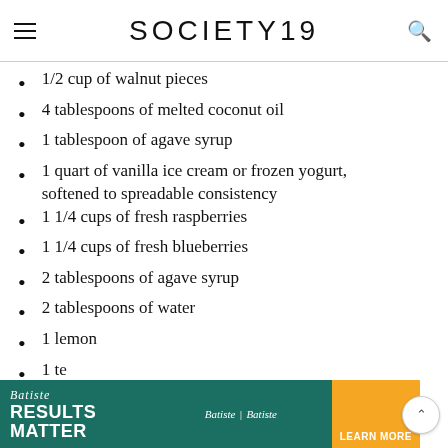SOCIETY19
1/2 cup of walnut pieces
4 tablespoons of melted coconut oil
1 tablespoon of agave syrup
1 quart of vanilla ice cream or frozen yogurt, softened to spreadable consistency
1 1/4 cups of fresh raspberries
1 1/4 cups of fresh blueberries
2 tablespoons of agave syrup
2 tablespoons of water
1 lemon
1 te
[Figure (advertisement): Batiste hair product advertisement with teal background showing 'RESULTS MATTER' tagline and 'LEARN MORE' button in orange]